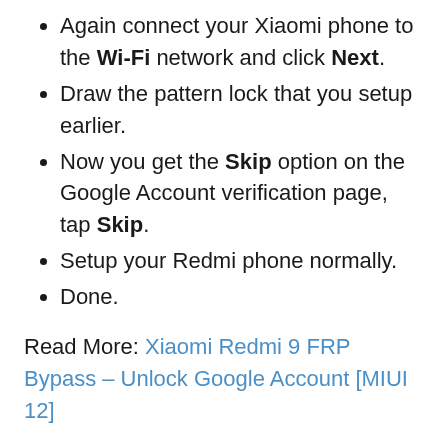Again connect your Xiaomi phone to the Wi-Fi network and click Next.
Draw the pattern lock that you setup earlier.
Now you get the Skip option on the Google Account verification page, tap Skip.
Setup your Redmi phone normally.
Done.
Read More: Xiaomi Redmi 9 FRP Bypass – Unlock Google Account [MIUI 12]
In this article, I share the best working method to Mi 9 Lite FRP Bypass | Unlock